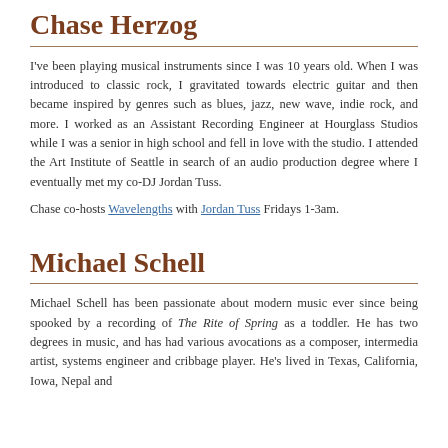Chase Herzog
I've been playing musical instruments since I was 10 years old. When I was introduced to classic rock, I gravitated towards electric guitar and then became inspired by genres such as blues, jazz, new wave, indie rock, and more. I worked as an Assistant Recording Engineer at Hourglass Studios while I was a senior in high school and fell in love with the studio. I attended the Art Institute of Seattle in search of an audio production degree where I eventually met my co-DJ Jordan Tuss.
Chase co-hosts Wavelengths with Jordan Tuss Fridays 1-3am.
Michael Schell
Michael Schell has been passionate about modern music ever since being spooked by a recording of The Rite of Spring as a toddler. He has two degrees in music, and has had various avocations as a composer, intermedia artist, systems engineer and cribbage player. He's lived in Texas, California, Iowa, Nepal and